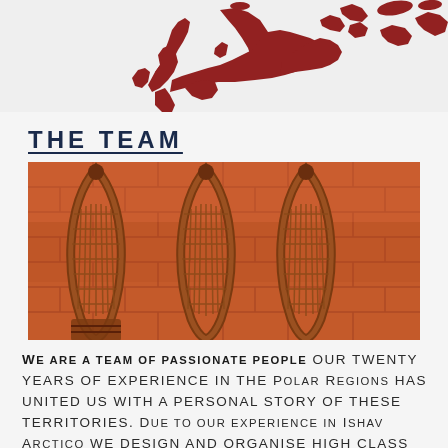[Figure (map): Dark red/maroon stylized world map or partial map silhouette on a light grey background, showing Europe and surrounding regions]
THE TEAM
[Figure (photo): Photograph of three traditional wooden snowshoes hanging on a rustic red/orange brick or log wall]
WE ARE A TEAM OF PASSIONATE PEOPLE our twenty years of experience in the Polar Regions has united us with a personal story of these territories. Due to our experience in Ishav Arctico we design and organise high class trips. THANKS